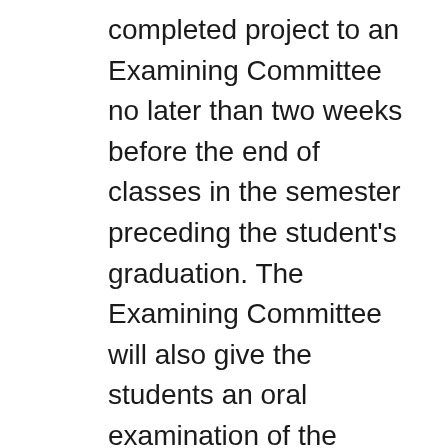completed project to an Examining Committee no later than two weeks before the end of classes in the semester preceding the student's graduation. The Examining Committee will also give the students an oral examination of the project. The Examining Committee will determine if the Honors Project meets the standards of Graduation with Honors. The student's thesis mentor will be responsible for selecting the Examining Committee, to be approved by the Provost. The committee will consist of four faculty members. Two or three members should be